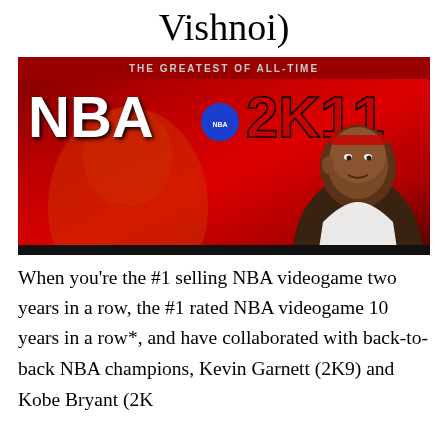Vishnoi)
[Figure (photo): NBA 2K11 video game cover showing 'THE GREATEST OF ALL-TIME' tagline with the NBA 2K11 logo and Michael Jordan]
When you’re the #1 selling NBA videogame two years in a row, the #1 rated NBA videogame 10 years in a row*, and have collaborated with back-to-back NBA champions, Kevin Garnett (2K9) and Kobe Bryant (2K10), you’re in NBA 2K standard of